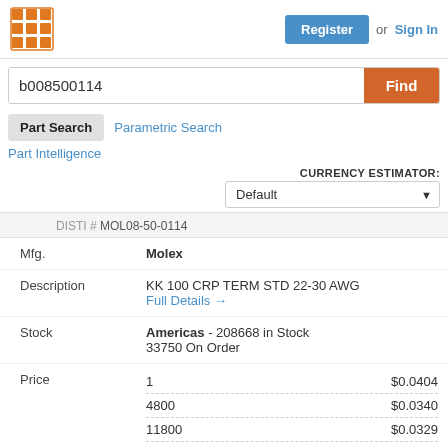[Figure (logo): Orange grid/dots logo icon]
Register or Sign In
b008500114
Find
Part Search
Parametric Search
Part Intelligence
CURRENCY ESTIMATOR:
Default
DISTI # MOL08-50-0114
| Field | Value |
| --- | --- |
| Mfg. | Molex |
| Description | KK 100 CRP TERM STD 22-30 AWG
Full Details → |
| Stock | Americas - 208668 in Stock
33750 On Order |
| Price | 1  $0.0404
4800  $0.0340
11800  $0.0329
See More |